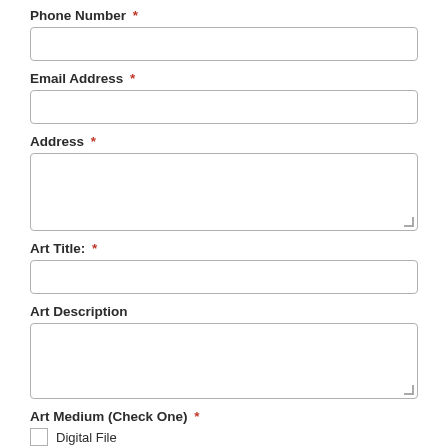Phone Number *
Email Address *
Address *
Art Title: *
Art Description
Art Medium (Check One) *
Digital File